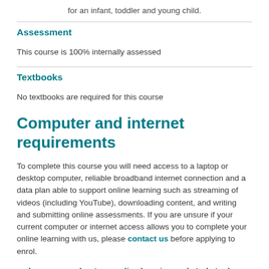for an infant, toddler and young child.
Assessment
This course is 100% internally assessed
Textbooks
No textbooks are required for this course
Computer and internet requirements
To complete this course you will need access to a laptop or desktop computer, reliable broadband internet connection and a data plan able to support online learning such as streaming of videos (including YouTube), downloading content, and writing and submitting online assessments. If you are unsure if your current computer or internet access allows you to complete your online learning with us, please contact us before applying to enrol.
→ Learn more about our online learning and study tools.